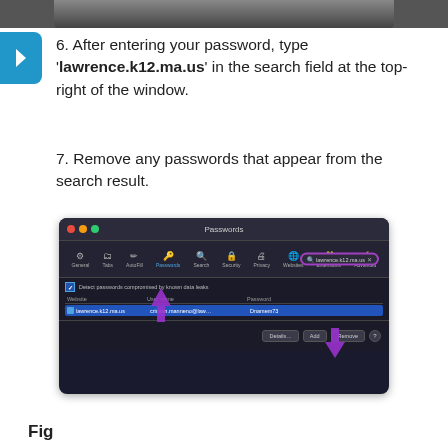[Figure (screenshot): Top portion of a screenshot visible at top of page]
6. After entering your password, type 'lawrence.k12.ma.us' in the search field at the top-right of the window.
7. Remove any passwords that appear from the search result.
[Figure (screenshot): Screenshot of macOS Passwords preferences window showing lawrence.k12.ma.us search results with a password entry highlighted in blue, with purple arrows pointing to the entry and the Remove button.]
Fig